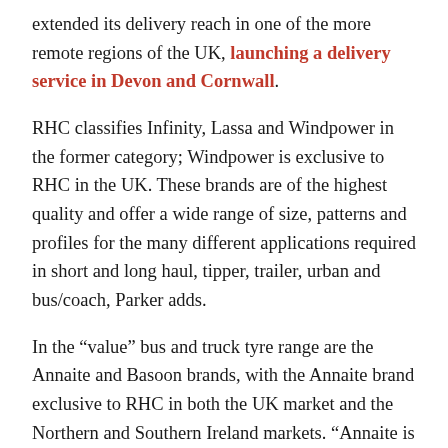extended its delivery reach in one of the more remote regions of the UK, launching a delivery service in Devon and Cornwall.
RHC classifies Infinity, Lassa and Windpower in the former category; Windpower is exclusive to RHC in the UK. These brands are of the highest quality and offer a wide range of size, patterns and profiles for the many different applications required in short and long haul, tipper, trailer, urban and bus/coach, Parker adds.
In the “value” bus and truck tyre range are the Annaite and Basoon brands, with the Annaite brand exclusive to RHC in both the UK market and the Northern and Southern Ireland markets. “Annaite is also noteworthy for a number of reasons,” Parker states. “Firstly, the recent released of a number of new sizes in various patterns which will fill the specific gaps in its armoury; these sizes being 750R16, 825R16 and 315/80R22.5